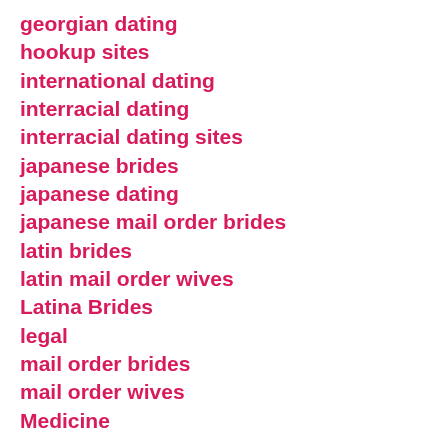georgian dating
hookup sites
international dating
interracial dating
interracial dating sites
japanese brides
japanese dating
japanese mail order brides
latin brides
latin mail order wives
Latina Brides
legal
mail order brides
mail order wives
Medicine